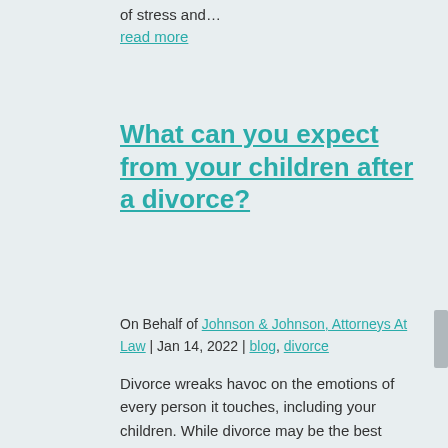of stress and…
read more
What can you expect from your children after a divorce?
On Behalf of Johnson & Johnson, Attorneys At Law | Jan 14, 2022 | blog, divorce
Divorce wreaks havoc on the emotions of every person it touches, including your children. While divorce may be the best option for your situation, you should still act sensitively towards your kids. According to Healthline, while children may have difficulty accepting…
read more